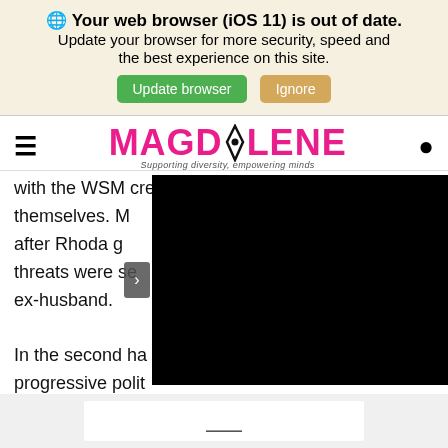Your web browser (iOS 11) is out of date. Update your browser for more security, speed and the best experience on this site. [Update browser] [Ignore]
MAGDALENE — Supporting diversity, empowering minds
with the WSM crews seeing the sunset to comfort themselves. M after Rhoda g threats were sen ex-husband.
[Figure (screenshot): Black video player block with a left arrow navigation button]
In the second ha progressive polit Democrat Jimmy Carter, who was endorsed by